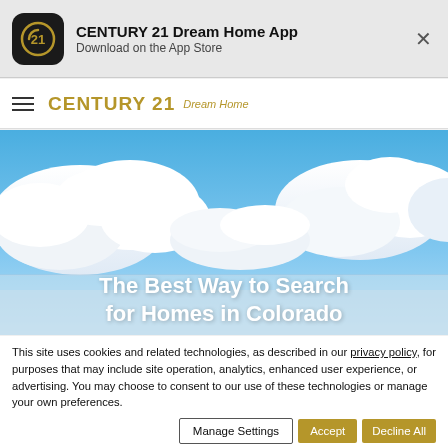[Figure (screenshot): CENTURY 21 Dream Home App banner with app icon, name, and close button]
CENTURY 21   Dream Home
[Figure (photo): Wide panoramic photo of blue sky with white cumulus clouds]
The Best Way to Search for Homes in Colorado
This site uses cookies and related technologies, as described in our privacy policy, for purposes that may include site operation, analytics, enhanced user experience, or advertising. You may choose to consent to our use of these technologies or manage your own preferences.
Manage Settings   Accept   Decline All